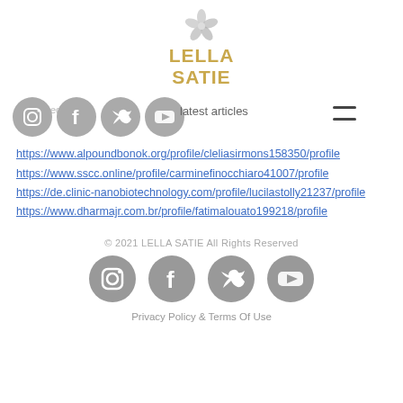[Figure (logo): Lella Satie logo with decorative flower/pinwheel icon above golden text 'LELLA SATIE']
undefined
latest articles
https://www.alpoundbonok.org/profile/cleliasirmons158350/profile
https://www.sscc.online/profile/carminefinocchiaro41007/profile
https://de.clinic-nanobiotechnology.com/profile/lucilastolly21237/profile
https://www.dharmajr.com.br/profile/fatimalouato199218/profile
© 2021 LELLA SATIE All Rights Reserved
Privacy Policy & Terms Of Use